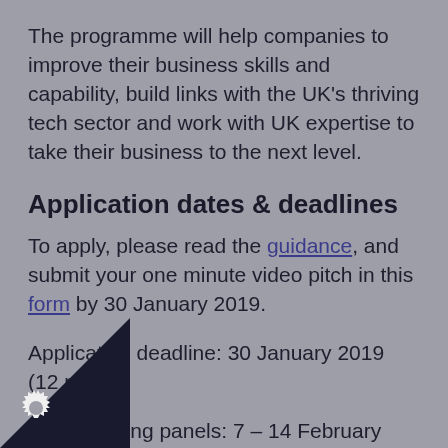The programme will help companies to improve their business skills and capability, build links with the UK's thriving tech sector and work with UK expertise to take their business to the next level.
Application dates & deadlines
To apply, please read the guidance, and submit your one minute video pitch in this form by 30 January 2019.
Application deadline: 30 January 2019 (12 pm)
Judging panels: 7 – 14 February 2019